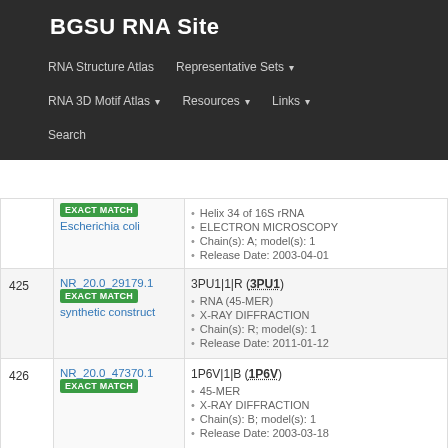BGSU RNA Site
RNA Structure Atlas | Representative Sets ▾ | RNA 3D Motif Atlas ▾ | Resources ▾ | Links ▾ | Search
| # | Set | Structure |
| --- | --- | --- |
|  | EXACT MATCH
Escherichia coli | Helix 34 of 16S rRNA • ELECTRON MICROSCOPY • Chain(s): A; model(s): 1 • Release Date: 2003-04-01 |
| 425 | NR_20.0_29179.1
EXACT MATCH
synthetic construct | 3PU1|1|R (3PU1) • RNA (45-MER) • X-RAY DIFFRACTION • Chain(s): R; model(s): 1 • Release Date: 2011-01-12 |
| 426 | NR_20.0_47370.1
EXACT MATCH | 1P6V|1|B (1P6V) • 45-MER • X-RAY DIFFRACTION • Chain(s): B; model(s): 1 • Release Date: 2003-03-18 |